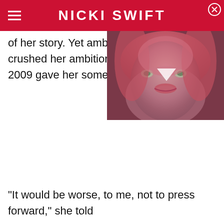NICKI SWIFT
of her story. Yet ambitions hip crushed her ambitions, the bir 2009 gave her something to "l
[Figure (photo): Woman with pink/red hair and green eyes, video thumbnail with play button overlay]
"It would be worse, to me, not to press forward," she told